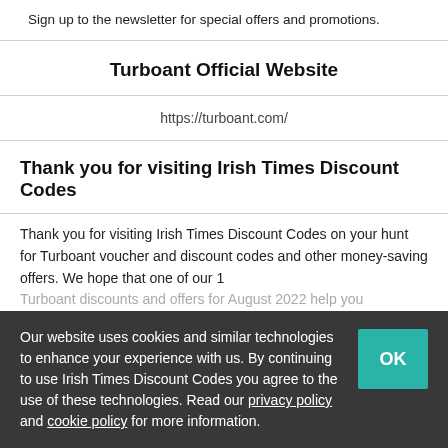Sign up to the newsletter for special offers and promotions.
Turboant Official Website
https://turboant.com/
Thank you for visiting Irish Times Discount Codes
Thank you for visiting Irish Times Discount Codes on your hunt for Turboant voucher and discount codes and other money-saving offers. We hope that one of our 1 Turboant discounts and offers for August 2022 help you
Our website uses cookies and similar technologies to enhance your experience with us. By continuing to use Irish Times Discount Codes you agree to the use of these technologies. Read our privacy policy and cookie policy for more information.